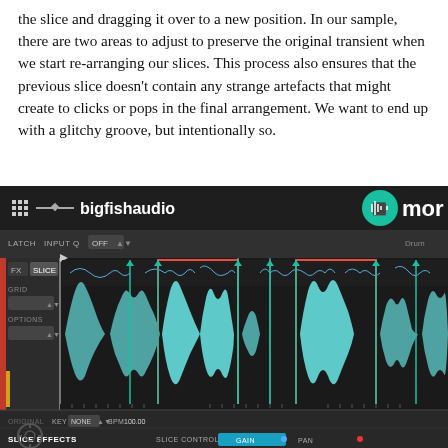the slice and dragging it over to a new position. In our sample, there are two areas to adjust to preserve the original transient when we start re-arranging our slices. This process also ensures that the previous slice doesn't contain any strange artefacts that might create to clicks or pops in the final arrangement. We want to end up with a glitchy groove, but intentionally so.
[Figure (screenshot): Screenshot of a DAW (digital audio workstation) showing the Bigfishaudio/Morpho plugin interface with waveform slices, slice markers, red selection boxes around two slice regions, and controls including LATCH, INPUT Q, OFF dropdown, FX, SLICE tabs, GRID, OPTIONS, ORIGINAL KEY NONE, BPM 100.00, SLICE EFFECTS, SLICE CONTROLS, GAIN, and PAN.]